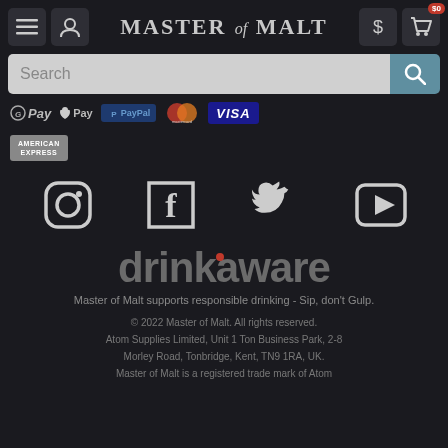Master of Malt
[Figure (screenshot): Search bar with magnifying glass icon]
[Figure (infographic): Payment method icons: G Pay, Apple Pay, PayPal, Mastercard, Visa, American Express]
[Figure (infographic): Social media icons: Instagram, Facebook, Twitter, YouTube]
[Figure (logo): Drinkaware logo]
Master of Malt supports responsible drinking - Sip, don't Gulp.
© 2022 Master of Malt. All rights reserved. Atom Supplies Limited, Unit 1 Ton Business Park, 2-8 Morley Road, Tonbridge, Kent, TN9 1RA, UK. Master of Malt is a registered trade mark of Atom